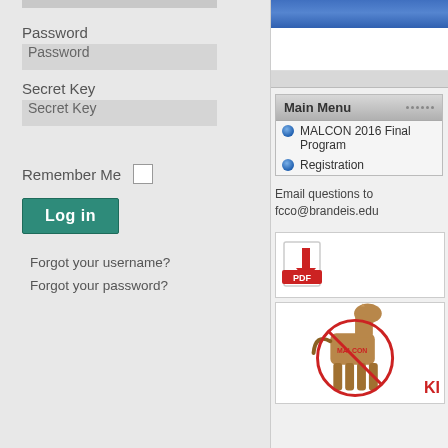[Figure (screenshot): Top gray bar (partial, left panel)]
Password
[Figure (screenshot): Password input field (gray)]
Secret Key
[Figure (screenshot): Secret Key input field (gray)]
Remember Me
[Figure (screenshot): Checkbox (unchecked)]
[Figure (screenshot): Log in button (teal)]
Forgot your username?
Forgot your password?
[Figure (screenshot): Right panel: blue gradient header bar and white space]
Main Menu
MALCON 2016 Final Program
Registration
Email questions to fcco@brandeis.edu
[Figure (screenshot): PDF download icon]
[Figure (illustration): Trojan horse illustration with MALCON text and red circle/slash. Text 'KI' visible at bottom right.]